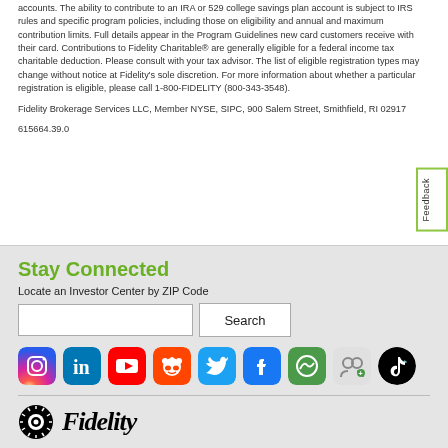accounts. The ability to contribute to an IRA or 529 college savings plan account is subject to IRS rules and specific program policies, including those on eligibility and annual and maximum contribution limits. Full details appear in the Program Guidelines new card customers receive with their card. Contributions to Fidelity Charitable® are generally eligible for a federal income tax charitable deduction. Please consult with your tax advisor. The list of eligible registration types may change without notice at Fidelity's sole discretion. For more information about whether a particular registration is eligible, please call 1-800-FIDELITY (800-343-3548).
Fidelity Brokerage Services LLC, Member NYSE, SIPC, 900 Salem Street, Smithfield, RI 02917
615664.39.0
Stay Connected
Locate an Investor Center by ZIP Code
[Figure (other): Social media icons: Instagram, LinkedIn, YouTube, Reddit, Twitter, Facebook, Fidelity app, community/referral icon, TikTok]
[Figure (logo): Fidelity logo with sunburst icon and italic Fidelity wordmark]